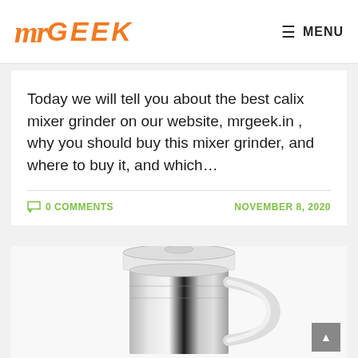mrGEEK — MENU
Today we will tell you about the best calix mixer grinder on our website, mrgeek.in , why you should buy this mixer grinder, and where to buy it, and which…
0 COMMENTS | NOVEMBER 8, 2020
[Figure (photo): Photo of a stainless steel mixer grinder jar with white lid on a white background]